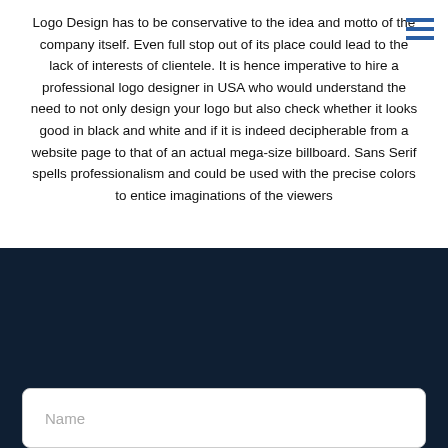Logo Design has to be conservative to the idea and motto of the company itself. Even full stop out of its place could lead to the lack of interests of clientele. It is hence imperative to hire a professional logo designer in USA who would understand the need to not only design your logo but also check whether it looks good in black and white and if it is indeed decipherable from a website page to that of an actual mega-size billboard. Sans Serif spells professionalism and could be used with the precise colors to entice imaginations of the viewers